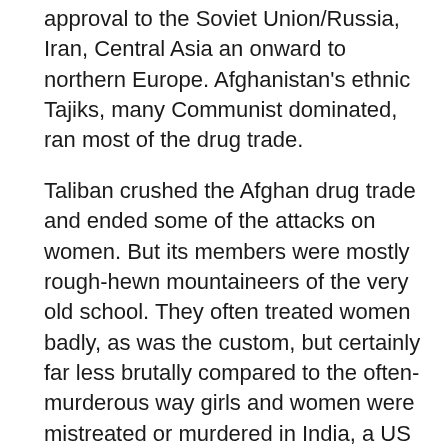approval to the Soviet Union/Russia, Iran, Central Asia an onward to northern Europe. Afghanistan's ethnic Tajiks, many Communist dominated, ran most of the drug trade.
Taliban crushed the Afghan drug trade and ended some of the attacks on women. But its members were mostly rough-hewn mountaineers of the very old school. They often treated women badly, as was the custom, but certainly far less brutally compared to the often-murderous way girls and women were mistreated or murdered in India, a US ally, or by US air raids on Afghan towns and villages.
[Figure (photo): Photograph showing people in a rocky or stone-walled environment, partially visible at the bottom of the page.]